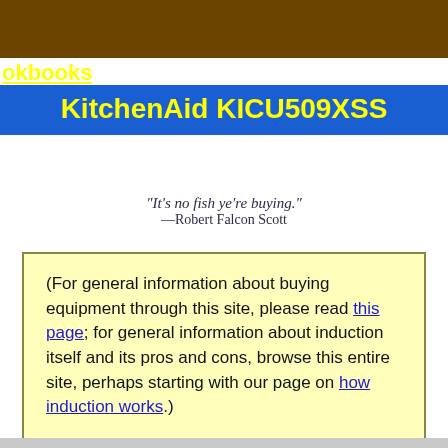okbooks
KitchenAid KICU509XSS
"It's no fish ye're buying."
—Robert Falcon Scott
(For general information about buying equipment through this site, please read this page; for general information about induction itself and its pros and cons, browse this entire site, perhaps starting with our page on how induction works.)